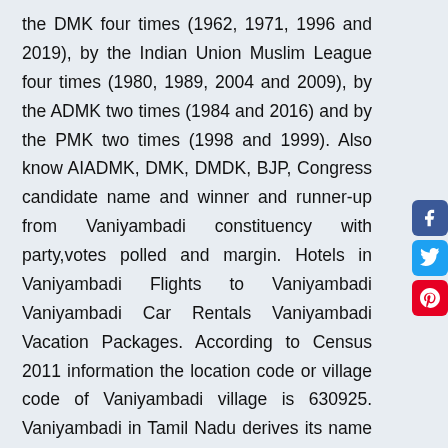the DMK four times (1962, 1971, 1996 and 2019), by the Indian Union Muslim League four times (1980, 1989, 2004 and 2009), by the ADMK two times (1984 and 2016) and by the PMK two times (1998 and 1999). Also know AIADMK, DMK, DMDK, BJP, Congress candidate name and winner and runner-up from Vaniyambadi constituency with party,votes polled and margin. Hotels in Vaniyambadi Flights to Vaniyambadi Vaniyambadi Car Rentals Vaniyambadi Vacation Packages. According to Census 2011 information the location code or village code of Vaniyambadi village is 630925. Vaniyambadi in Tamil Nadu derives its name and identity from mythological lore. [1] In 1996 this Municipality was upgraded to Grade II Municipality by Rural Development Local Administration Dept. Interactive map of Vaniyambadi Current time in Vaniyambadi ... [8] By road Vaniyambadi is surrounded by Ambur and Tirupathur which are 15 km, 24 km away respectively. As per the Census India 2011,